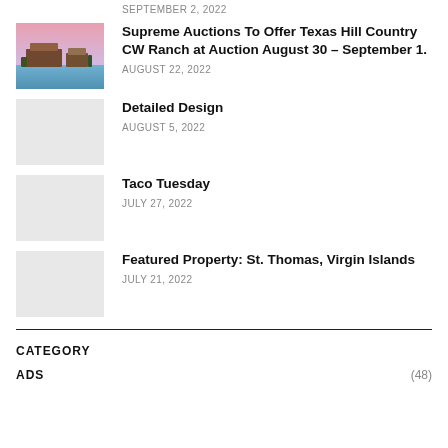SEPTEMBER 2, 2022
Supreme Auctions To Offer Texas Hill Country CW Ranch at Auction August 30 – September 1.
AUGUST 22, 2022
Detailed Design
AUGUST 5, 2022
Taco Tuesday
JULY 27, 2022
Featured Property: St. Thomas, Virgin Islands
JULY 21, 2022
CATEGORY
ADS (48)